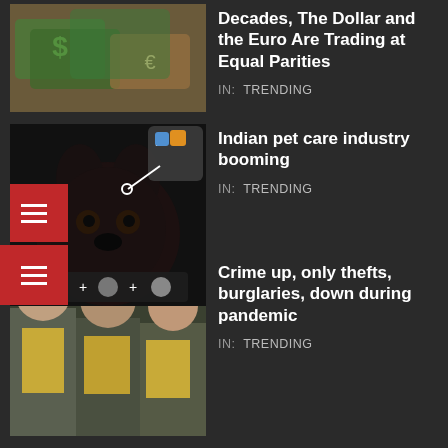[Figure (screenshot): Thumbnail image of money/currency bills]
Decades, The Dollar and the Euro Are Trading at Equal Parities
IN: TRENDING
[Figure (screenshot): Thumbnail image of a dog (Rottweiler) with pet care app overlay icons]
Indian pet care industry booming
IN: TRENDING
[Figure (screenshot): Thumbnail image of police officers in uniform]
Crime up, only thefts, burglaries, down during pandemic
IN: TRENDING
GET IN TOUCH
[Figure (infographic): Social media icons: Twitter, Instagram, LinkedIn]
PAGES